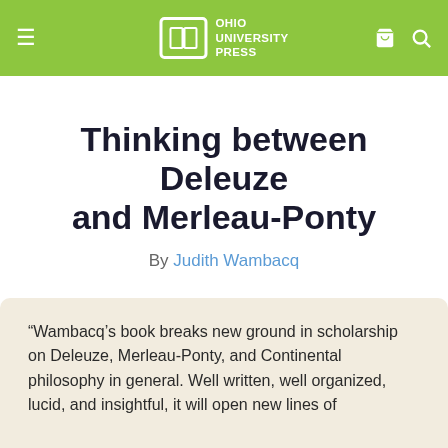Ohio University Press
Thinking between Deleuze and Merleau-Ponty
By Judith Wambacq
“Wambacq’s book breaks new ground in scholarship on Deleuze, Merleau-Ponty, and Continental philosophy in general. Well written, well organized, lucid, and insightful, it will open new lines of